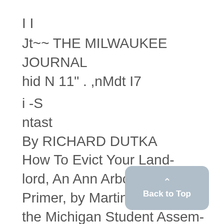I I
Jt~~ THE MILWAUKEE JOURNAL
hid N 11" . ,nMdt I7
i -S
ntast
By RICHARD DUTKA
How To Evict Your Landlord, An Ann Arbor Tenant's Primer, by Martin Porter and the Michigan Student Assembly Housing Law Reform Project, $1.25. 55 pages, il